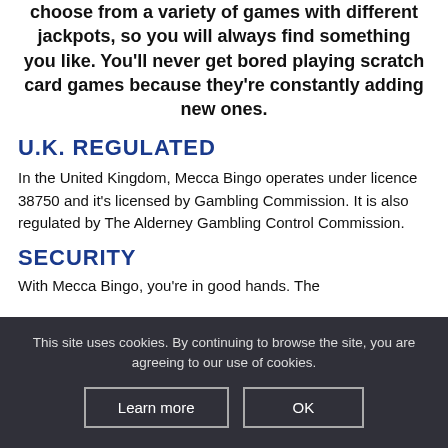Bingo is a great way to get started. You can choose from a variety of games with different jackpots, so you will always find something you like. You'll never get bored playing scratch card games because they're constantly adding new ones.
U.K. REGULATED
In the United Kingdom, Mecca Bingo operates under licence 38750 and it's licensed by Gambling Commission. It is also regulated by The Alderney Gambling Control Commission.
SECURITY
With Mecca Bingo, you're in good hands. The
This site uses cookies. By continuing to browse the site, you are agreeing to our use of cookies.